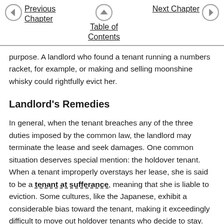Previous Chapter   Table of Contents   Next Chapter
purpose. A landlord who found a tenant running a numbers racket, for example, or making and selling moonshine whisky could rightfully evict her.
Landlord's Remedies
In general, when the tenant breaches any of the three duties imposed by the common law, the landlord may terminate the lease and seek damages. One common situation deserves special mention: the holdover tenant. When a tenant improperly overstays her lease, she is said to be a tenant at sufferance, meaning that she is liable to eviction. Some cultures, like the Japanese, exhibit a considerable bias toward the tenant, making it exceedingly difficult to move out holdover tenants who decide to stay. But in the United States, landlords may remove tenants through summary (speedy) proceedings available in every state or, in some cases, through